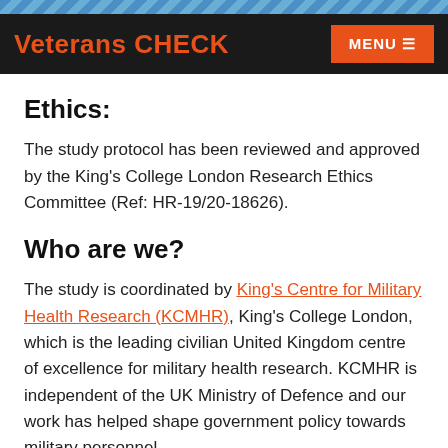Veterans CHECK  MENU ☰
Ethics:
The study protocol has been reviewed and approved by the King's College London Research Ethics Committee (Ref: HR-19/20-18626).
Who are we?
The study is coordinated by King's Centre for Military Health Research (KCMHR), King's College London, which is the leading civilian United Kingdom centre of excellence for military health research. KCMHR is independent of the UK Ministry of Defence and our work has helped shape government policy towards military personnel,